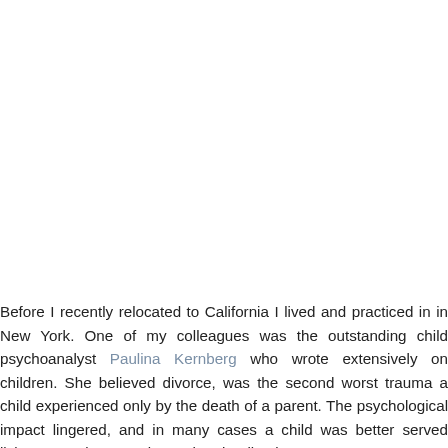Before I recently relocated to California I lived and practiced in New York. One of my colleagues was the outstanding child psychoanalyst Paulina Kernberg who wrote extensively on children. She believed divorce, was the second worst trauma a child experienced only by the death of a parent. The psychological impact lingered, and in many cases a child was better served living protecting experience than battling between two parents.